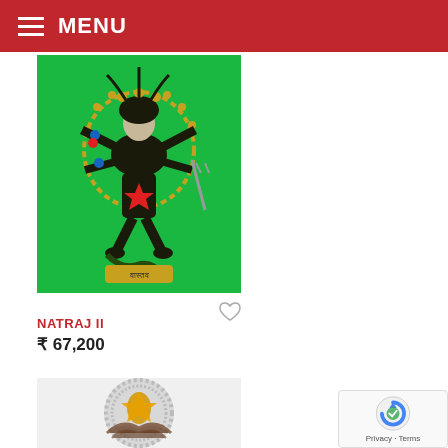MENU
[Figure (photo): Painting of Natraj II — a multi-armed deity figure dancing on a green background with gold ornamentation, a red star on the torso, and snake at the feet.]
♡
NATRAJ II
₹ 67,200
[Figure (photo): Circular artwork with intricate grey-white texture and a golden/orange figure in the center, partially visible at bottom of page.]
[Figure (other): reCAPTCHA widget with logo and Privacy - Terms text]